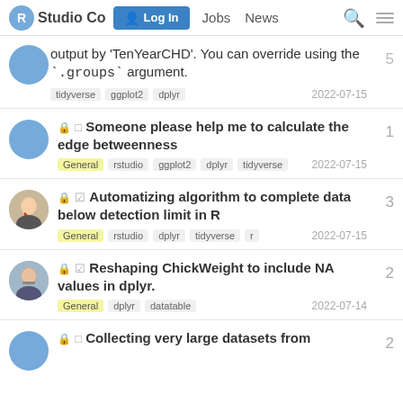RStudio Community — Log In  Jobs  News
output by 'TenYearCHD'. You can override using the `.groups` argument.  tags: tidyverse, ggplot2, dplyr  2022-07-15  reply:5
🔒 □ Someone please help me to calculate the edge betweenness  tags: General, rstudio, ggplot2, dplyr, tidyverse  2022-07-15  reply:1
🔒 ☑ Automatizing algorithm to complete data below detection limit in R  tags: General, rstudio, dplyr, tidyverse, r  2022-07-15  reply:3
🔒 ☑ Reshaping ChickWeight to include NA values in dplyr.  tags: General, dplyr, datatable  2022-07-14  reply:2
🔒 □ Collecting very large datasets from  reply:2